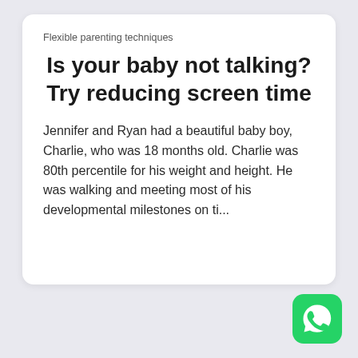Flexible parenting techniques
Is your baby not talking? Try reducing screen time
Jennifer and Ryan had a beautiful baby boy, Charlie, who was 18 months old. Charlie was 80th percentile for his weight and height. He was walking and meeting most of his developmental milestones on ti...
[Figure (logo): WhatsApp green logo icon in bottom right corner]